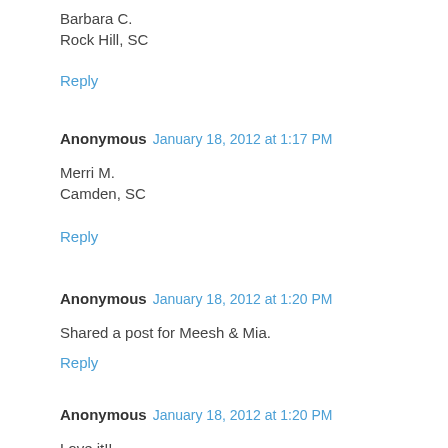Barbara C.
Rock Hill, SC
Reply
Anonymous  January 18, 2012 at 1:17 PM
Merri M.
Camden, SC
Reply
Anonymous  January 18, 2012 at 1:20 PM
Shared a post for Meesh & Mia.
Reply
Anonymous  January 18, 2012 at 1:20 PM
Love it!!
Karen H.